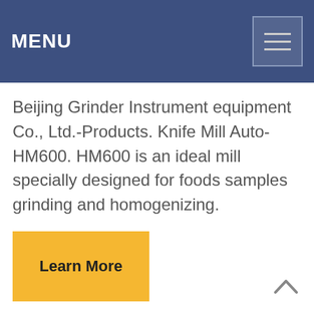MENU
Beijing Grinder Instrument equipment Co., Ltd.-Products. Knife Mill Auto-HM600. HM600 is an ideal mill specially designed for foods samples grinding and homogenizing.
Learn More